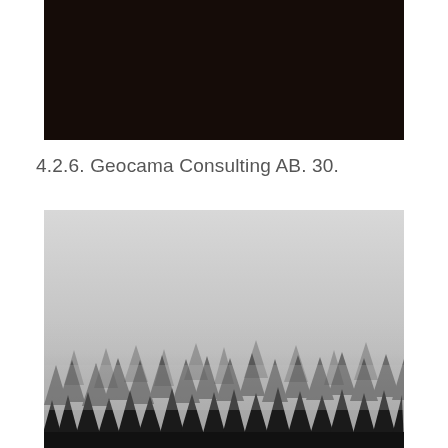[Figure (photo): A dark, nearly black photograph — appears to be a dark scene, possibly a night or very dark indoor/outdoor environment with very little visible detail.]
4.2.6. Geocama Consulting AB. 30.
[Figure (photo): A misty forest landscape photograph in black and white. Tall conifer trees (spruce/pine) are silhouetted against a foggy grey background. The upper portion is light grey fog/mist filling most of the frame, while the bottom portion shows a dense tree line with dark tree shapes fading into the mist.]